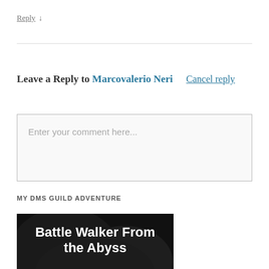Reply ↓
Leave a Reply to Marcovalerio Neri   Cancel reply
Enter your comment here...
MY DMS GUILD ADVENTURE
[Figure (illustration): Book cover for 'Battle Walker From the Abyss' by David Hartlage. Dark background with pink and purple color gradient at the bottom.]